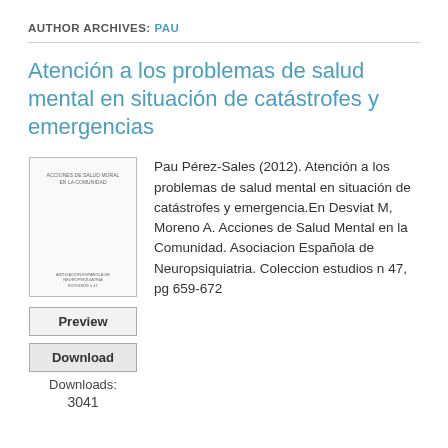AUTHOR ARCHIVES: PAU
Atención a los problemas de salud mental en situación de catástrofes y emergencias
[Figure (other): Thumbnail image of book cover: Acciones de Salud Mental en la Comunidad]
Pau Pérez-Sales (2012). Atención a los problemas de salud mental en situación de catástrofes y emergencia.En Desviat M, Moreno A. Acciones de Salud Mental en la Comunidad. Asociacion Española de Neuropsiquiatria. Coleccion estudios n 47, pg 659-672
Preview
Download
Downloads: 3041